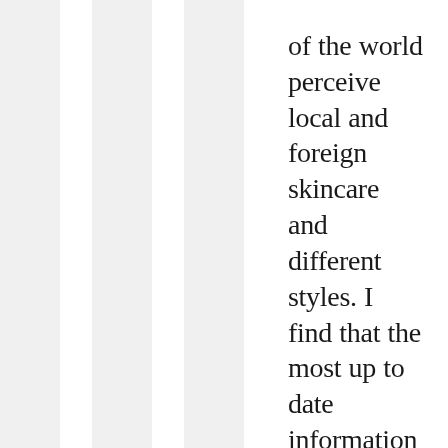of the world perceive local and foreign skincare and different styles. I find that the most up to date information on collections for most brands come from Japan but as you